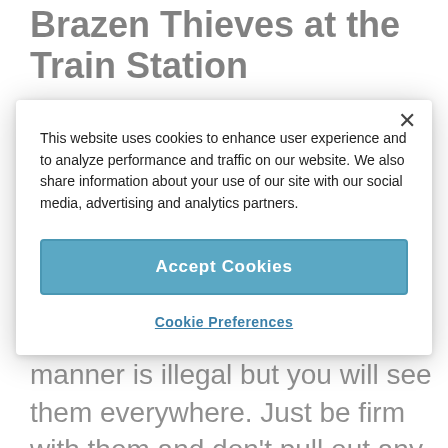Brazen Thieves at the Train Station
This website uses cookies to enhance user experience and to analyze performance and traffic on our website. We also share information about your use of our site with our social media, advertising and analytics partners.
Accept Cookies
Cookie Preferences
they snag it. Selling in this manner is illegal but you will see them everywhere. Just be firm with them and don’t pull out any money around them.